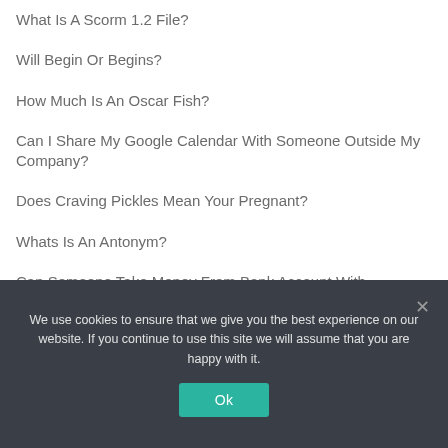What Is A Scorm 1.2 File?
Will Begin Or Begins?
How Much Is An Oscar Fish?
Can I Share My Google Calendar With Someone Outside My Company?
Does Craving Pickles Mean Your Pregnant?
Whats Is An Antonym?
Can Someone Take Money From Bank Account With Account Number?
We use cookies to ensure that we give you the best experience on our website. If you continue to use this site we will assume that you are happy with it.